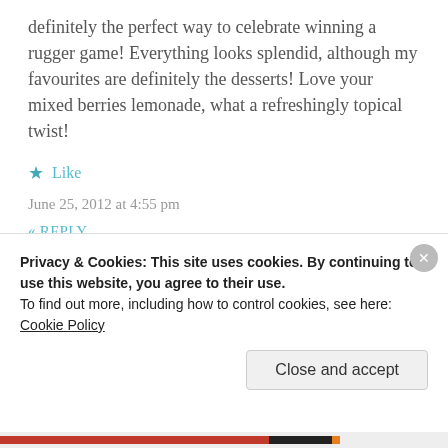definitely the perfect way to celebrate winning a rugger game! Everything looks splendid, although my favourites are definitely the desserts! Love your mixed berries lemonade, what a refreshingly topical twist!
★ Like
June 25, 2012 at 4:55 pm
« REPLY
[Figure (photo): Circular avatar image with nature/outdoor scene]
Privacy & Cookies: This site uses cookies. By continuing to use this website, you agree to their use.
To find out more, including how to control cookies, see here:
Cookie Policy
Close and accept